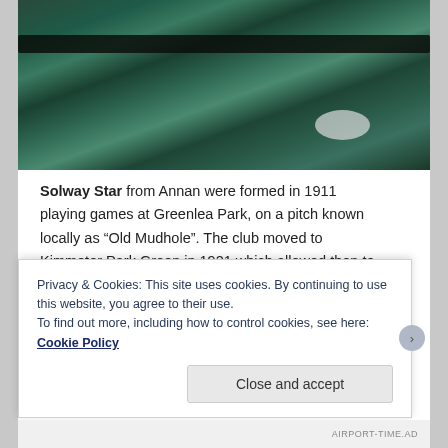[Figure (photo): Aerial photograph of a coastal or landscape area, showing dark green terrain with what appears to be a curved shoreline or road, with a light-colored oval shape visible in the lower right portion.]
Solway Star from Annan were formed in 1911 playing games at Greenlea Park, on a pitch known locally as “Old Mudhole”. The club moved to Kimmeter Park Green in 1921 which allowed then to rise to the Western League and then to the Scottish League. The new ground had a grandstand and over 2,000 people watched a cup tie with Vale of Leven in 1924. After losing their League place the club competed in the South of Scotland League until World War II. After the war they played a few friendlies but then folded with the recently formed Annan Athletic.
Privacy & Cookies: This site uses cookies. By continuing to use this website, you agree to their use.
To find out more, including how to control cookies, see here: Cookie Policy